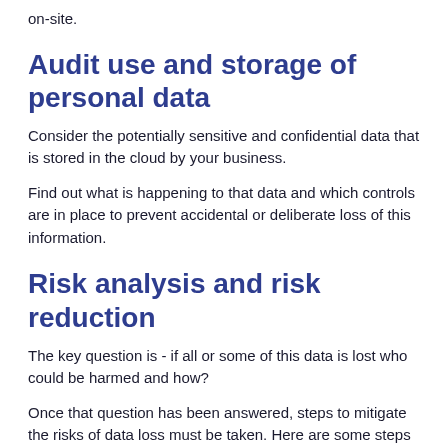on-site.
Audit use and storage of personal data
Consider the potentially sensitive and confidential data that is stored in the cloud by your business.
Find out what is happening to that data and which controls are in place to prevent accidental or deliberate loss of this information.
Risk analysis and risk reduction
The key question is - if all or some of this data is lost who could be harmed and how?
Once that question has been answered, steps to mitigate the risks of data loss must be taken. Here are some steps that should be undertaken to reduce the risk of data loss:
ensure that the cloud provider or outsourcer will not share your data with a third party